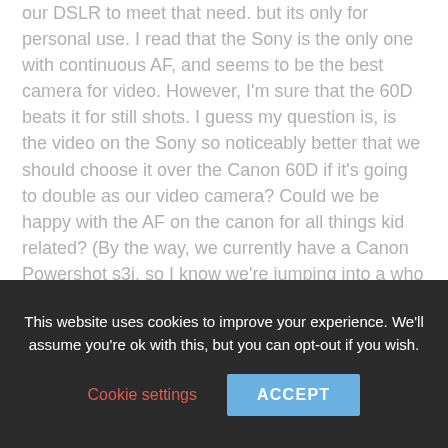our DSLR to meet that need. but its only for personal use. I read that the Sony is the only one with continuous AF, and seems to be the best camera for video. However, I'm sure that the 60D beats it for still shots. I guess my question is, is the video on the Sony so noticeably better that we should choose it over the Canon 60D if it's going to double as our video camera? Could we be happy with the AF on the canon for all things kid related? (By the way, we currently have a Canon Powershot s3i, so I know we're jumping into a who new world).
Thanks for sharing your expertise!
Heidi...
This website uses cookies to improve your experience. We'll assume you're ok with this, but you can opt-out if you wish.
Cookie settings
ACCEPT